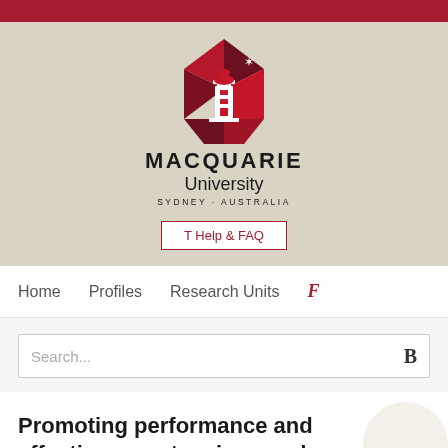[Figure (logo): Macquarie University logo with lighthouse and geometric red shapes, text: MACQUARIE University SYDNEY·AUSTRALIA]
T Help & FAQ
Home  Profiles  Research Units  F
Search...
Promoting performance and effectiveness: tensions and